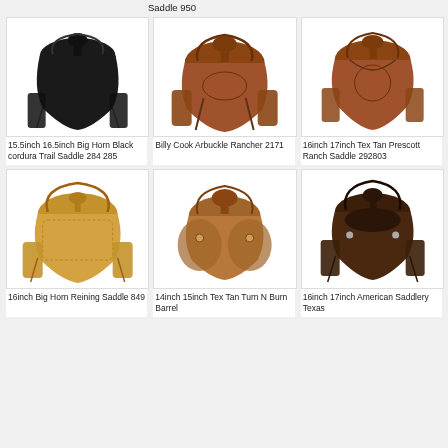Saddle 950
[Figure (photo): Black western trail saddle]
15.5inch 16.5inch Big Horn Black cordura Trail Saddle 284 285
[Figure (photo): Brown leather Billy Cook Arbuckle Rancher western saddle]
Billy Cook Arbuckle Rancher 2171
[Figure (photo): Brown leather Tex Tan Prescott Ranch Saddle]
16inch 17inch Tex Tan Prescott Ranch Saddle 292803
[Figure (photo): Tan/natural leather Big Horn Reining Saddle]
16inch Big Horn Reining Saddle 849
[Figure (photo): Brown leather Tex Tan Turn N Burn Barrel saddle]
14inch 15inch Tex Tan Turn N Burn Barrel
[Figure (photo): Dark brown American Saddlery Texas western saddle]
16inch 17inch American Saddlery Texas